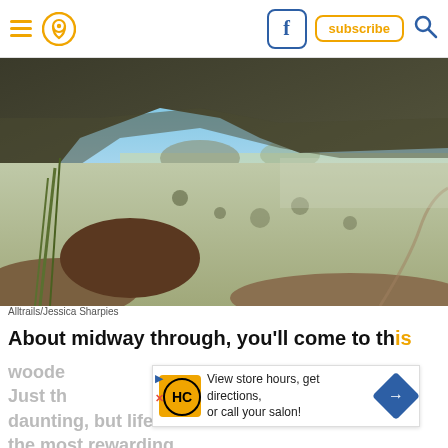Navigation bar with hamburger menu, pin/location icon, Facebook icon, subscribe button, and search icon
[Figure (photo): Aerial view of a desert mountain ridge with a blue sky and vast valley in the background, desert scrub vegetation visible]
Alltrails/Jessica Sharpies
About midway through, you'll come to this wooded area — it might seem daunting, but life's most difficult tasks are often the most rewarding
[Figure (infographic): Advertisement overlay: HC logo with text 'View store hours, get directions, or call your salon!' with a blue turn-arrow icon, play and close buttons on left]